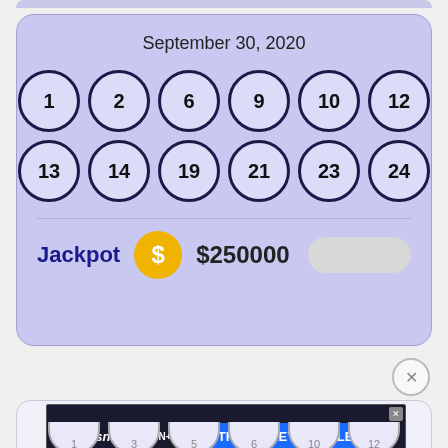September 30, 2020
[Figure (infographic): Lottery draw results card for September 30, 2020 showing two rows of numbered balls: Row 1: 1, 2, 6, 9, 10, 12. Row 2: 13, 14, 19, 21, 23, 24. Jackpot: $250000.]
Jackpot  $250000
[Figure (infographic): Disney Bundle advertisement banner with Hulu, Disney+, ESPN+ logos and GET THE DISNEY BUNDLE call-to-action button.]
Incl. Hulu (ad-supported) or Hulu (No Ads). Access content from each service separately. ©2021 Disney and its related entities